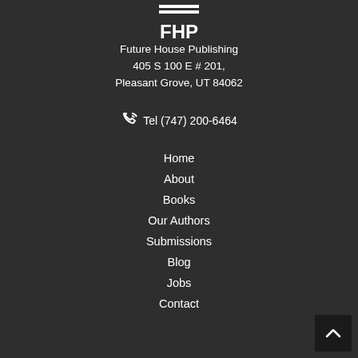[Figure (logo): FHP logo — Future House Publishing logo with horizontal lines above and 'FHP' text in white on dark background]
Future House Publishing
405 S 100 E # 201,
Pleasant Grove, UT 84062
Tel (747) 200-6464
Home
About
Books
Our Authors
Submissions
Blog
Jobs
Contact